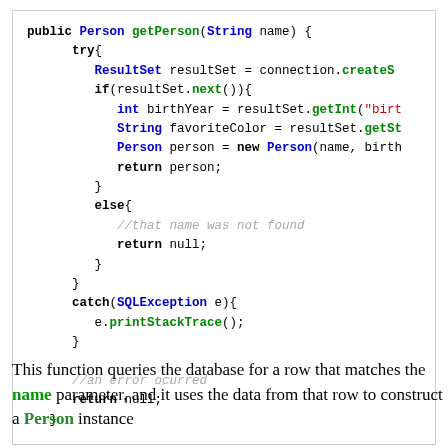[Figure (screenshot): Java code snippet showing a getPerson method that queries a database ResultSet, extracts birthYear and favoriteColor, constructs a Person object, and handles exceptions.]
This function queries the database for a row that matches the name parameter, and it uses the data from that row to construct a Person instance